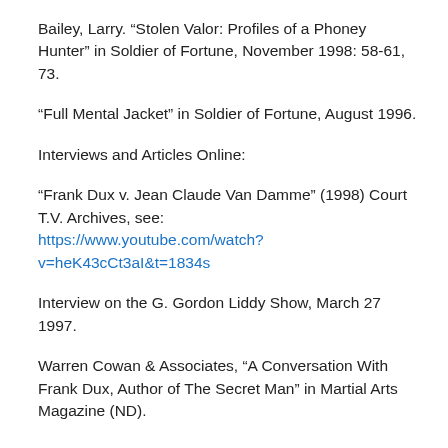Bailey, Larry. “Stolen Valor: Profiles of a Phoney Hunter” in Soldier of Fortune, November 1998: 58-61, 73.
“Full Mental Jacket” in Soldier of Fortune, August 1996.
Interviews and Articles Online:
“Frank Dux v. Jean Claude Van Damme” (1998) Court T.V. Archives, see: https://www.youtube.com/watch?v=heK43cCt3aI&t=1834s
Interview on the G. Gordon Liddy Show, March 27 1997.
Warren Cowan & Associates, “A Conversation With Frank Dux, Author of The Secret Man” in Martial Arts Magazine (ND).